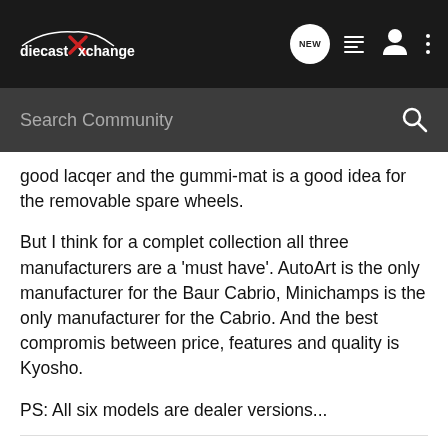diecastXchange — NEW (navigation bar with search)
good lacqer and the gummi-mat is a good idea for the removable spare wheels.
But I think for a complet collection all three manufacturers are a 'must have'. AutoArt is the only manufacturer for the Baur Cabrio, Minichamps is the only manufacturer for the Cabrio. And the best compromis between price, features and quality is Kyosho.
PS: All six models are dealer versions...
Call me Michael.